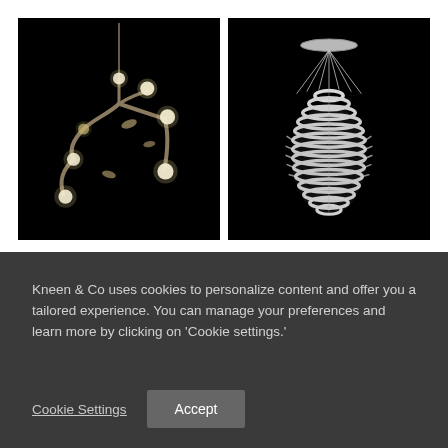[Figure (photo): A modern chandelier with curving brass arms and multiple small glowing spherical bulbs, photographed against a black background.]
[Figure (photo): A layered oval/lantern-style pendant light with horizontal glass rings and thin wire suspension from a circular ceiling plate, photographed against a black background.]
Kneen & Co uses cookies to personalize content and offer you a tailored experience. You can manage your preferences and learn more by clicking on 'Cookie settings.'
Cookie Settings
Accept